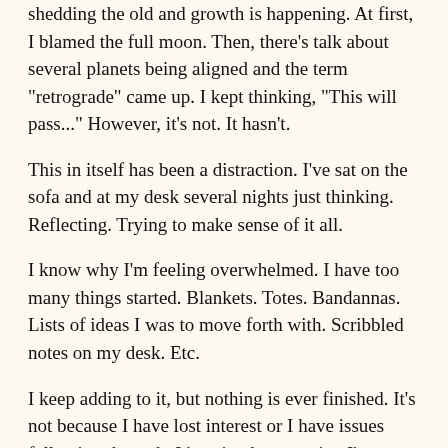shedding the old and growth is happening. At first, I blamed the full moon. Then, there's talk about several planets being aligned and the term "retrograde" came up. I kept thinking, "This will pass..." However, it's not. It hasn't.
This in itself has been a distraction. I've sat on the sofa and at my desk several nights just thinking. Reflecting. Trying to make sense of it all.
I know why I'm feeling overwhelmed. I have too many things started. Blankets. Totes. Bandannas. Lists of ideas I was to move forth with. Scribbled notes on my desk. Etc.
I keep adding to it, but nothing is ever finished. It's not because I have lost interest or I have issues following through. It's quite the opposite. I'm awake 20 hours a day working on this or that. I'm always doing something. I have every intention of tending to this project or that, but I never quite get there.
That has to stop.
I need to tighten the reigns on my schedule including the